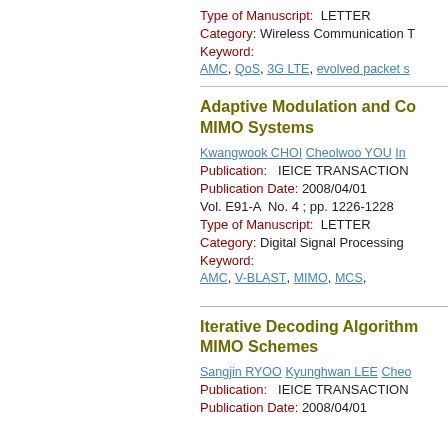Type of Manuscript: LETTER
Category: Wireless Communication T...
Keyword:
AMC, QoS, 3G LTE, evolved packet s...
Adaptive Modulation and Co... MIMO Systems
Kwangwook CHOI Cheolwoo YOU In...
Publication: IEICE TRANSACTION...
Publication Date: 2008/04/01
Vol. E91-A No. 4 ; pp. 1226-1228
Type of Manuscript: LETTER
Category: Digital Signal Processing
Keyword:
AMC, V-BLAST, MIMO, MCS,
Iterative Decoding Algorithm... MIMO Schemes
Sangjin RYOO Kyunghwan LEE Cheo...
Publication: IEICE TRANSACTION...
Publication Date: 2008/04/01